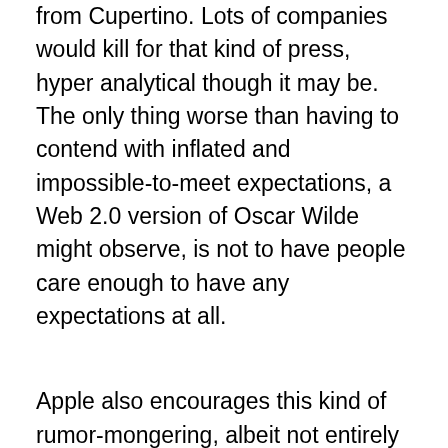from Cupertino. Lots of companies would kill for that kind of press, hyper analytical though it may be. The only thing worse than having to contend with inflated and impossible-to-meet expectations, a Web 2.0 version of Oscar Wilde might observe, is not to have people care enough to have any expectations at all.
Apple also encourages this kind of rumor-mongering, albeit not entirely intentionally, by being so tight-lipped about its product plans. The company announces events like the one on Tuesday and then clams up. With so many Web sites chronicling Aple's every move, something has to fill the gap between the company announcing an event and the big day itself. Usually, that something turns out to be